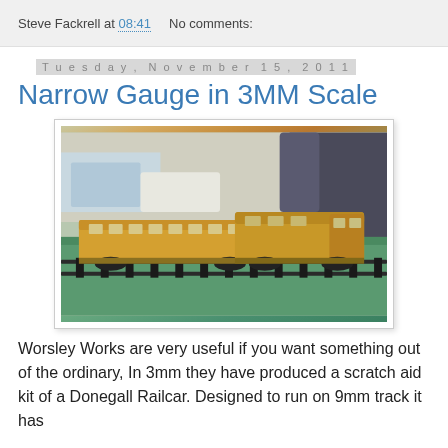Steve Fackrell at 08:41    No comments:
Tuesday, November 15, 2011
Narrow Gauge in 3MM Scale
[Figure (photo): Two yellow model narrow gauge diesel railcars on track, displayed on a green surface at what appears to be a model railway exhibition. People visible in background.]
Worsley Works are very useful if you want something out of the ordinary, In 3mm they have produced a scratch aid kit of a Donegall Railcar. Designed to run on 9mm track it has